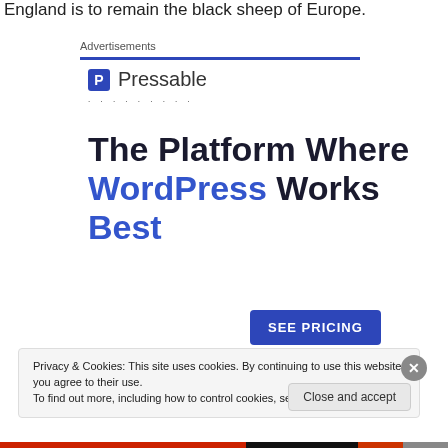England is to remain the black sheep of Europe.
Advertisements
[Figure (logo): Pressable logo with blue square icon containing letter P, followed by text 'Pressable', and a row of dots below]
The Platform Where WordPress Works Best
SEE PRICING
Privacy & Cookies: This site uses cookies. By continuing to use this website, you agree to their use.
To find out more, including how to control cookies, see here: Cookie Policy
Close and accept